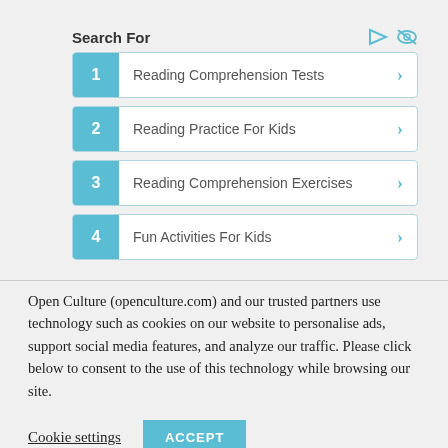Search For
1  Reading Comprehension Tests
2  Reading Practice For Kids
3  Reading Comprehension Exercises
4  Fun Activities For Kids
Open Culture (openculture.com) and our trusted partners use technology such as cookies on our website to personalise ads, support social media features, and analyze our traffic. Please click below to consent to the use of this technology while browsing our site.
Cookie settings   ACCEPT